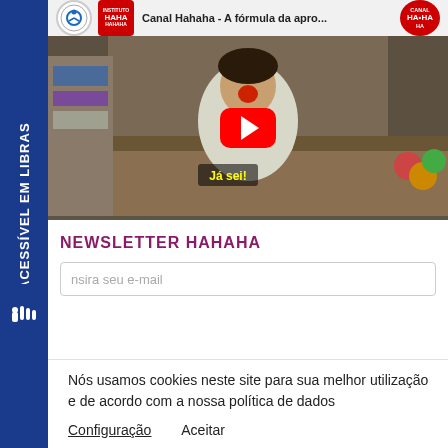[Figure (screenshot): YouTube video player thumbnail showing Canal Hahaha - A fórmula da apro... with a person wearing a clown nose and white lab coat sitting at a desk, with a large red YouTube play button in the center and yellow subtitle text 'Já sei!']
NEWSLETTER HAHAHA
nsira seu e-mail
Nós usamos cookies neste site para sua melhor utilização e de acordo com a nossa política de dados
Configuração
Aceitar